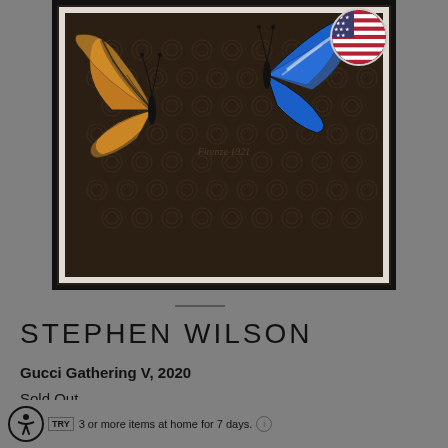[Figure (photo): Framed artwork by Stephen Wilson titled 'Gucci Gathering V, 2020' showing two butterflies (an orange/brown monarch-style butterfly on the left and a blue morpho butterfly on the right) against a dark brown Gucci monogram patterned background. A circular US flag badge is visible in the upper right corner.]
STEPHEN WILSON
Gucci Gathering V, 2020
Sold Out
3 or more items at home for 7 days.